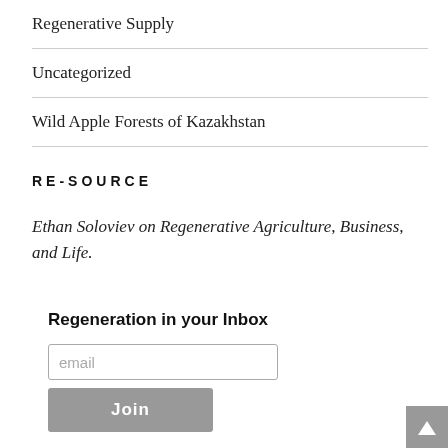Regenerative Supply
Uncategorized
Wild Apple Forests of Kazakhstan
RE-SOURCE
Ethan Soloviev on Regenerative Agriculture, Business, and Life.
Regeneration in your Inbox
email
Join